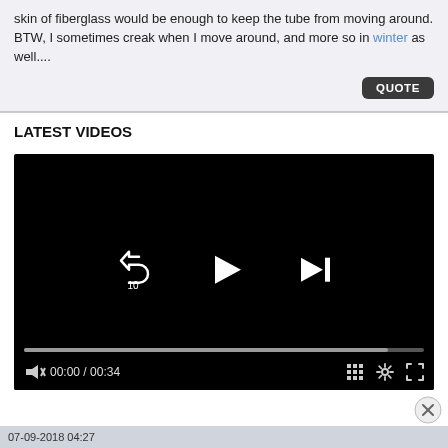skin of fiberglass would be enough to keep the tube from moving around.
BTW, I sometimes creak when I move around, and more so in winter as well....
QUOTE
LATEST VIDEOS
[Figure (screenshot): Video player showing black screen with replay (10s), play, and next-track controls. Progress bar near bottom. Bottom bar shows muted icon, 00:00 / 00:34 timestamp, grid, settings, and fullscreen icons.]
07-09-2018 04:27